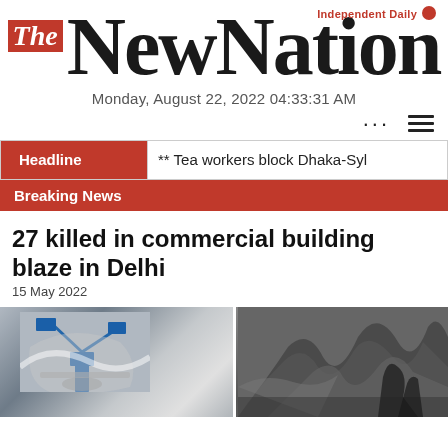The New Nation — Independent Daily
Monday, August 22, 2022 04:33:31 AM
Headline ** Tea workers block Dhaka-Syl
Breaking News
27 killed in commercial building blaze in Delhi
15 May 2022
[Figure (photo): Two photos side by side: left shows a fire truck crane amid smoke and debris; right shows thick dark smoke billowing from a building fire in Delhi.]